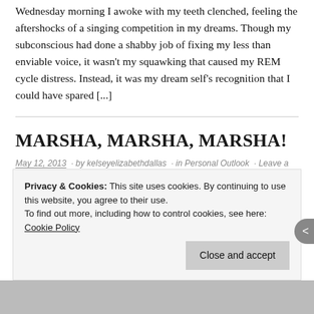Wednesday morning I awoke with my teeth clenched, feeling the aftershocks of a singing competition in my dreams. Though my subconscious had done a shabby job of fixing my less than enviable voice, it wasn't my squawking that caused my REM cycle distress. Instead, it was my dream self's recognition that I could have spared [...]
MARSHA, MARSHA, MARSHA!
May 12, 2013 · by kelseyelizabethdallas · in Personal Outlook · Leave a comment
Today, my Facebook feed is full of the claims of a competitive bunch of Millennials who can't imagine a mother as perfectly superb as their own. Though superlatives are the stuff of my everyday speech, this post isn't about saying that Marsha Dallas is
Privacy & Cookies: This site uses cookies. By continuing to use this website, you agree to their use.
To find out more, including how to control cookies, see here: Cookie Policy
Close and accept